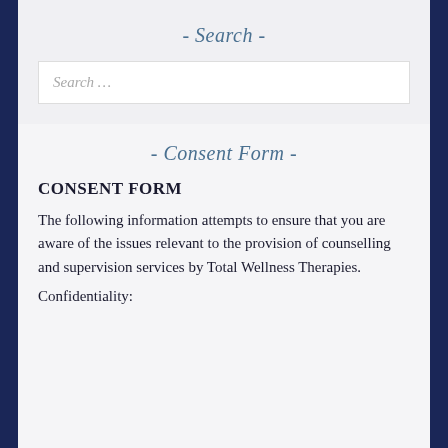- Search -
Search …
- Consent Form -
CONSENT FORM
The following information attempts to ensure that you are aware of the issues relevant to the provision of counselling and supervision services by Total Wellness Therapies.
Confidentiality: